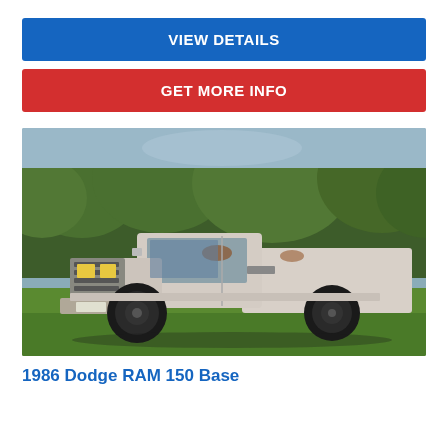VIEW DETAILS
GET MORE INFO
[Figure (photo): 1986 Dodge RAM 150 Base truck parked on grass, lowered stance with black wheels, white/silver body with some rust, trees in background]
1986 Dodge RAM 150 Base